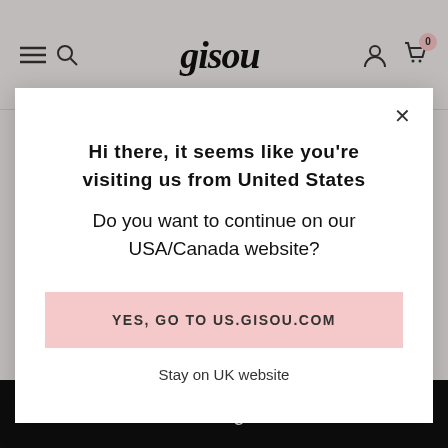[Figure (screenshot): Gisou website header with hamburger menu, search icon, Gisou logo, user icon, and cart icon with badge showing 0]
Hair texture: Wavy
Hair thickness: Thick or coarse
Hi there, it seems like you're visiting us from United States
Do you want to continue on our USA/Canada website?
Yes, Go To Us.Gisou.Com
Stay on UK website
Add To Bag - £105